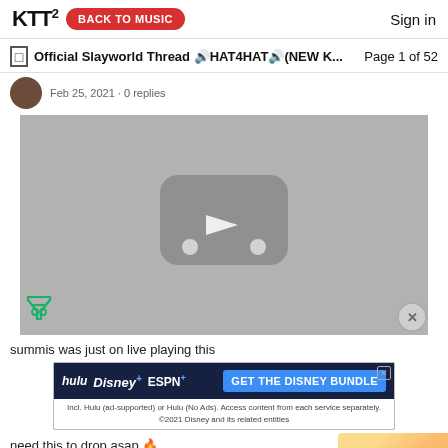KTT2  BACK TO MUSIC  Sign in
Official Slayworld Thread 🔊HAT4HAT🔊(NEW K...  Page 1 of 52
Feb 25, 2021 · 0 replies
[Figure (screenshot): YouTube video player placeholder showing YouTube logo (rounded rectangle with play button) on a grey background]
summis was just on live playing this
[Figure (other): Disney Bundle advertisement banner: hulu Disney+ ESPN+ GET THE DISNEY BUNDLE. Incl. Hulu (ad-supported) or Hulu (No Ads). Access content from each service separately. ©2021 Disney and its related entities]
need this to drop asap 🔥